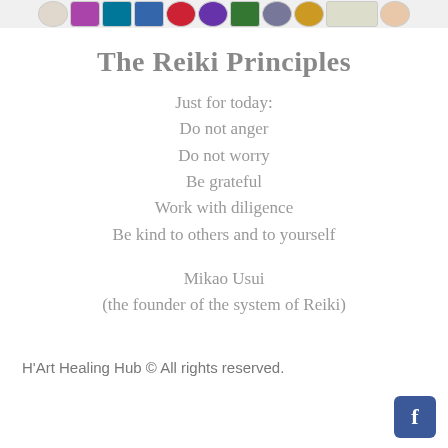[Figure (illustration): A horizontal strip of various holistic therapy and professional association logos/badges at the top of the page.]
The Reiki Principles
Just for today:
Do not anger
Do not worry
Be grateful
Work with diligence
Be kind to others and to yourself
Mikao Usui
(the founder of the system of Reiki)
H’Art Healing Hub © All rights reserved.
[Figure (logo): Facebook logo icon button in blue rounded square.]